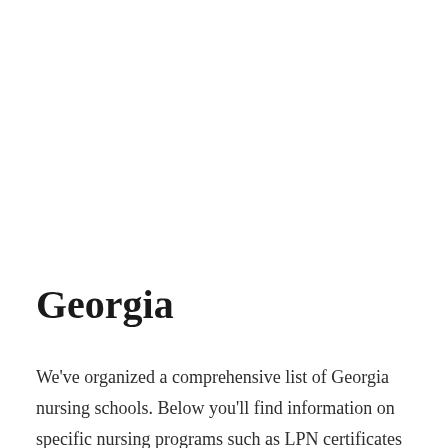Georgia
We've organized a comprehensive list of Georgia nursing schools. Below you'll find information on specific nursing programs such as LPN certificates and ADN, BSN, and MSN degrees. You'll also find a profile of nursing education and